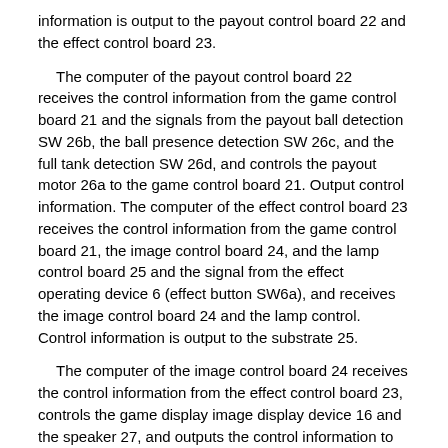information is output to the payout control board 22 and the effect control board 23.
The computer of the payout control board 22 receives the control information from the game control board 21 and the signals from the payout ball detection SW 26b, the ball presence detection SW 26c, and the full tank detection SW 26d, and controls the payout motor 26a to the game control board 21. Output control information. The computer of the effect control board 23 receives the control information from the game control board 21, the image control board 24, and the lamp control board 25 and the signal from the effect operating device 6 (effect button SW6a), and receives the image control board 24 and the lamp control. Control information is output to the substrate 25.
The computer of the image control board 24 receives the control information from the effect control board 23, controls the game display image display device 16 and the speaker 27, and outputs the control information to the effect control board 23. The computer of the lamp control board 25 receives a signal from the movable accessory device 17 (origin SW) and control information from the